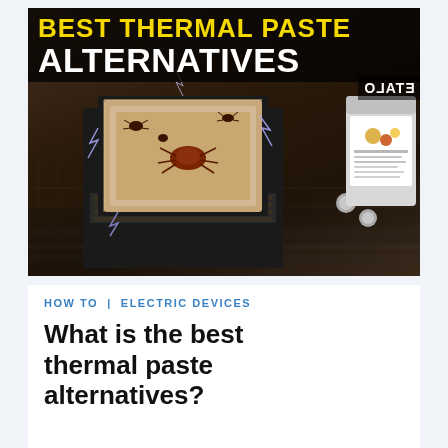[Figure (photo): A CPU/processor on a motherboard with insects (bugs) on top of it, lightning effects around it, and a jar of substance in the top right corner. Overlaid text reads 'BEST THERMAL PASTE ALTERNATIVES' in yellow and white bold letters on a dark background banner.]
HOW TO | ELECTRIC DEVICES
What is the best thermal paste alternatives?